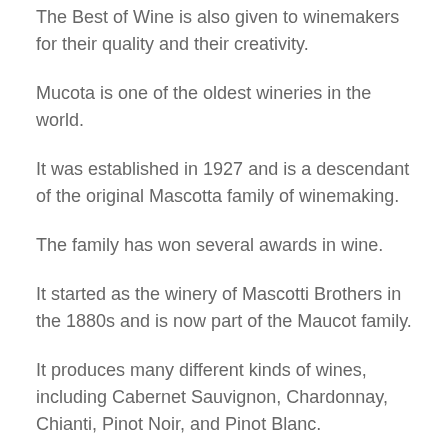The Best of Wine is also given to winemakers for their quality and their creativity.
Mucota is one of the oldest wineries in the world.
It was established in 1927 and is a descendant of the original Mascotta family of winemaking.
The family has won several awards in wine.
It started as the winery of Mascotti Brothers in the 1880s and is now part of the Maucot family.
It produces many different kinds of wines, including Cabernet Sauvignon, Chardonnay, Chianti, Pinot Noir, and Pinot Blanc.
Mecanoo Winery The Mecans winery is located at the Mecanic Hotel, in Dublin.
It opened in 1998 and is one the oldest of Mecanes wineries.